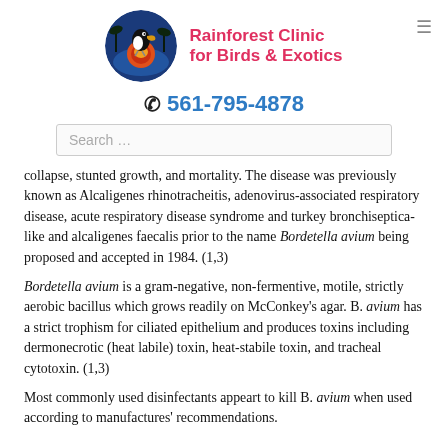[Figure (logo): Rainforest Clinic for Birds & Exotics logo: circular emblem with toucan and tropical sunset background]
Rainforest Clinic for Birds & Exotics
☎ 561-795-4878
collapse, stunted growth, and mortality. The disease was previously known as Alcaligenes rhinotracheitis, adenovirus-associated respiratory disease, acute respiratory disease syndrome and turkey bronchiseptica-like and alcaligenes faecalis prior to the name Bordetella avium being proposed and accepted in 1984. (1,3)
Bordetella avium is a gram-negative, non-fermentive, motile, strictly aerobic bacillus which grows readily on McConkey's agar. B. avium has a strict trophism for ciliated epithelium and produces toxins including dermonecrotic (heat labile) toxin, heat-stabile toxin, and tracheal cytotoxin. (1,3)
Most commonly used disinfectants appeart to kill B. avium when used according to manufactures' recommendations.